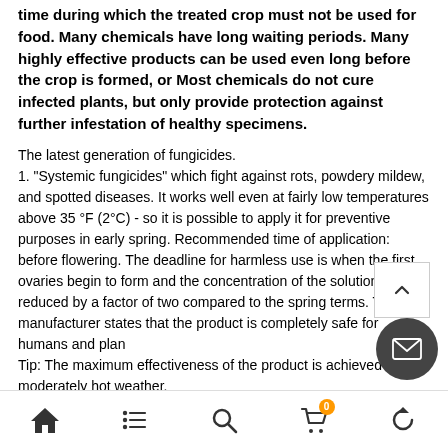time during which the treated crop must not be used for food. Many chemicals have long waiting periods. Many highly effective products can be used even long before the crop is formed, or Most chemicals do not cure infected plants, but only provide protection against further infestation of healthy specimens.
The latest generation of fungicides.
1. "Systemic fungicides" which fight against rots, powdery mildew, and spotted diseases. It works well even at fairly low temperatures above 35 °F (2°C) - so it is possible to apply it for preventive purposes in early spring. Recommended time of application: before flowering. The deadline for harmless use is when the first ovaries begin to form and the concentration of the solution is reduced by a factor of two compared to the spring terms. The manufacturer states that the product is completely safe for humans and plants. Tip: The maximum effectiveness of the product is achieved in moderately hot weather.